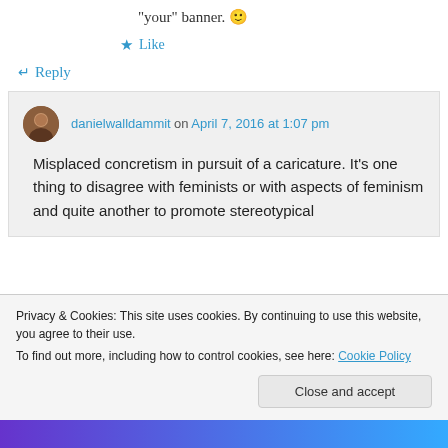“your” banner. 🙂
★ Like
↵ Reply
danielwalldammit on April 7, 2016 at 1:07 pm
Misplaced concretism in pursuit of a caricature. It’s one thing to disagree with feminists or with aspects of feminism and quite another to promote stereotypical
Privacy & Cookies: This site uses cookies. By continuing to use this website, you agree to their use.
To find out more, including how to control cookies, see here: Cookie Policy
Close and accept